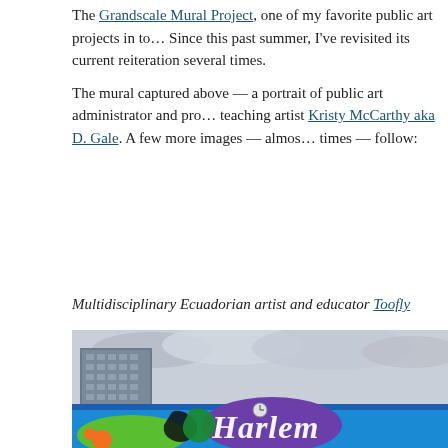The Grandscale Mural Project, one of my favorite public art projects in to... Since this past summer, I've revisited its current reiteration several times.
The mural captured above — a portrait of public art administrator and pro... teaching artist Kristy McCarthy aka D. Gale. A few more images — almos... times — follow:
Multidisciplinary Ecuadorian artist and educator Toofly
[Figure (photo): A colorful mural on a wall or barrier in Harlem, with large stylized graffiti lettering reading 'Harlem' in white script on a blue, green, purple background with orange accents. In the background is a tall residential building and overcast sky.]